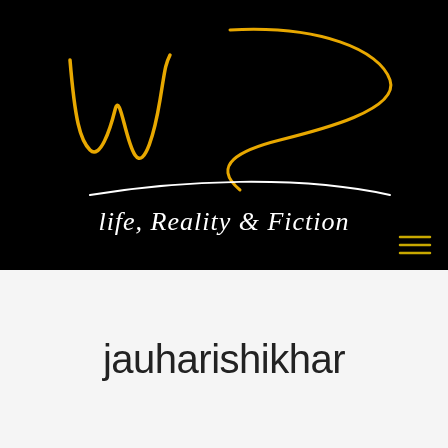[Figure (logo): Blog logo with stylized cursive 'ws' letters in gold/yellow on black background, with white cursive text 'life, Reality & Fiction' below on a curved arc]
jauharishikhar